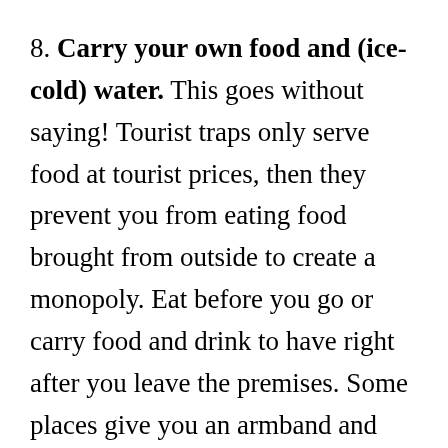8. Carry your own food and (ice-cold) water. This goes without saying! Tourist traps only serve food at tourist prices, then they prevent you from eating food brought from outside to create a monopoly. Eat before you go or carry food and drink to have right after you leave the premises. Some places give you an armband and allow re-entry. Go outside, sit on a bench or in your car, have your food from home then go back inside the venue. Several dollars saved. Also, it’s a good idea to freeze your water and other drinks because when it gets really hot, your lukewarm beverage won’t